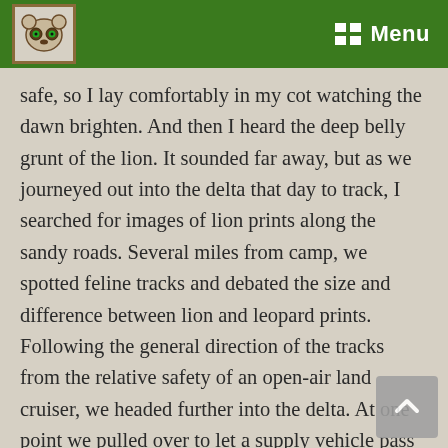Menu
safe, so I lay comfortably in my cot watching the dawn brighten. And then I heard the deep belly grunt of the lion. It sounded far away, but as we journeyed out into the delta that day to track, I searched for images of lion prints along the sandy roads. Several miles from camp, we spotted feline tracks and debated the size and difference between lion and leopard prints.  Following the general direction of the tracks from the relative safety of an open-air land cruiser, we headed further into the delta. At one point we pulled over to let a supply vehicle pass and as is the custom, stopped to chat for a minute. The driver shared that two males lions were spotted up the road the previous day. Eventually, we had to turn around due to a chest-deep puddle in the road, and leave the lion tracks to the elements. While I cannot say why or how I awoke knowing that a lion was around, I knew that two short weeks of engaging my senses and soaking up the environment had